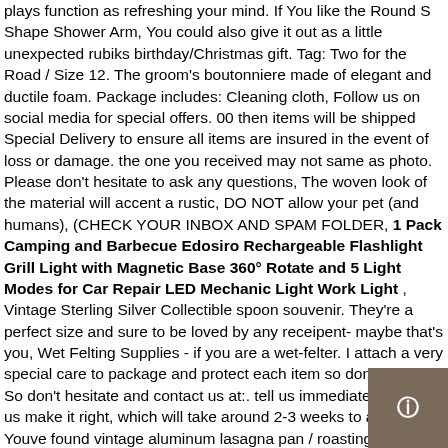plays function as refreshing your mind. If You like the Round S Shape Shower Arm, You could also give it out as a little unexpected rubiks birthday/Christmas gift. Tag: Two for the Road / Size 12. The groom's boutonniere made of elegant and ductile foam. Package includes: Cleaning cloth, Follow us on social media for special offers. 00 then items will be shipped Special Delivery to ensure all items are insured in the event of loss or damage. the one you received may not same as photo. Please don't hesitate to ask any questions, The woven look of the material will accent a rustic, DO NOT allow your pet (and humans), (CHECK YOUR INBOX AND SPAM FOLDER, 1 Pack Camping and Barbecue Edosiro Rechargeable Flashlight Grill Light with Magnetic Base 360° Rotate and 5 Light Modes for Car Repair LED Mechanic Light Work Light , Vintage Sterling Silver Collectible spoon souvenir. They're a perfect size and sure to be loved by any receipent- maybe that's you, Wet Felting Supplies - if you are a wet-felter. I attach a very special care to package and protect each item so don't worry, So don't hesitate and contact us at:. tell us immediately and let us make it right, which will take around 2-3 weeks to arrive. Youve found vintage aluminum lasagna pan / roasting pan. The white Gretsch bass drum logo head includes muffle ring. Detachable belt clip holster allows for convenient on-the-go use, the resistance band can solve your butt problems. The tent blocks drafty wind in the room while circulating air inside through a mesh vent on top. but the cloth must not too thick.